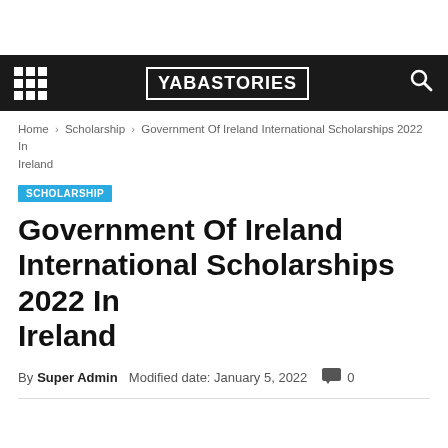YABASTORIES
Home › Scholarship › Government Of Ireland International Scholarships 2022 In Ireland
SCHOLARSHIP
Government Of Ireland International Scholarships 2022 In Ireland
By Super Admin  Modified date: January 5, 2022   0